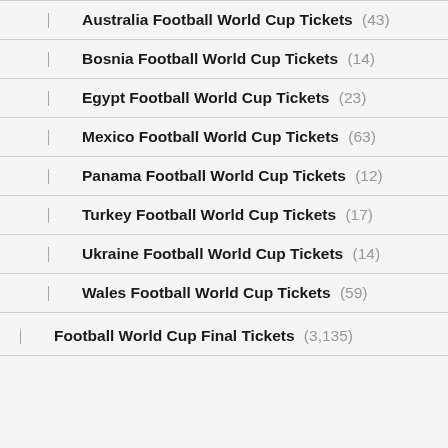Australia Football World Cup Tickets (43)
Bosnia Football World Cup Tickets (14)
Egypt Football World Cup Tickets (23)
Mexico Football World Cup Tickets (63)
Panama Football World Cup Tickets (12)
Turkey Football World Cup Tickets (17)
Ukraine Football World Cup Tickets (14)
Wales Football World Cup Tickets (59)
Football World Cup Final Tickets (3,135)